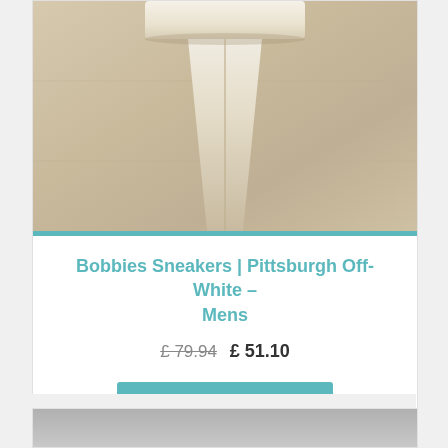[Figure (photo): Close-up photo of white/off-white sneaker sole and shoe body against a beige/tan stone or tile floor background]
Bobbies Sneakers | Pittsburgh Off-White – Mens
£ 79.94  £ 51.10
Select options